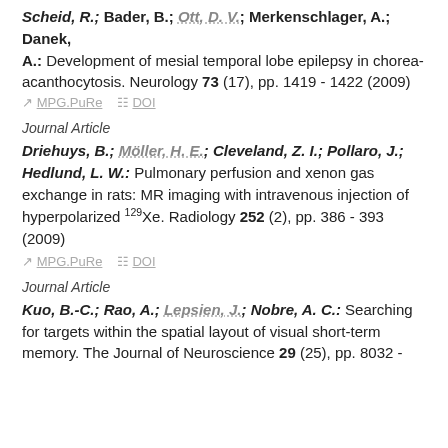Scheid, R.; Bader, B.; Ott, D. V.; Merkenschlager, A.; Danek, A.: Development of mesial temporal lobe epilepsy in chorea-acanthocytosis. Neurology 73 (17), pp. 1419 - 1422 (2009)
MPG.PuRe   DOI
Journal Article
Driehuys, B.; Möller, H. E.; Cleveland, Z. I.; Pollaro, J.; Hedlund, L. W.: Pulmonary perfusion and xenon gas exchange in rats: MR imaging with intravenous injection of hyperpolarized 129Xe. Radiology 252 (2), pp. 386 - 393 (2009)
MPG.PuRe   DOI
Journal Article
Kuo, B.-C.; Rao, A.; Lepsien, J.; Nobre, A. C.: Searching for targets within the spatial layout of visual short-term memory. The Journal of Neuroscience 29 (25), pp. 8032 -